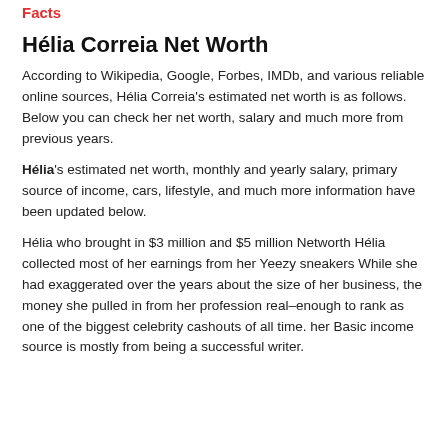Facts
Hélia Correia Net Worth
According to Wikipedia, Google, Forbes, IMDb, and various reliable online sources, Hélia Correia's estimated net worth is as follows. Below you can check her net worth, salary and much more from previous years.
Hélia's estimated net worth, monthly and yearly salary, primary source of income, cars, lifestyle, and much more information have been updated below.
Hélia who brought in $3 million and $5 million Networth Hélia collected most of her earnings from her Yeezy sneakers While she had exaggerated over the years about the size of her business, the money she pulled in from her profession real–enough to rank as one of the biggest celebrity cashouts of all time. her Basic income source is mostly from being a successful writer.